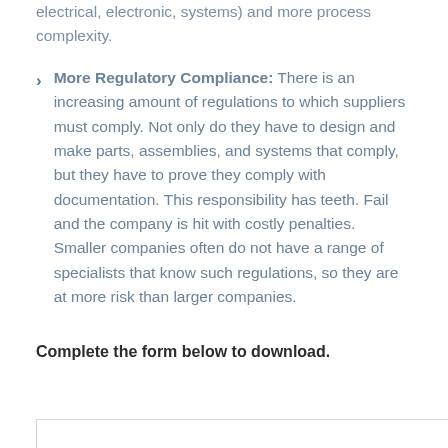electrical, electronic, systems) and more process complexity.
More Regulatory Compliance: There is an increasing amount of regulations to which suppliers must comply. Not only do they have to design and make parts, assemblies, and systems that comply, but they have to prove they comply with documentation. This responsibility has teeth. Fail and the company is hit with costly penalties. Smaller companies often do not have a range of specialists that know such regulations, so they are at more risk than larger companies.
Complete the form below to download.